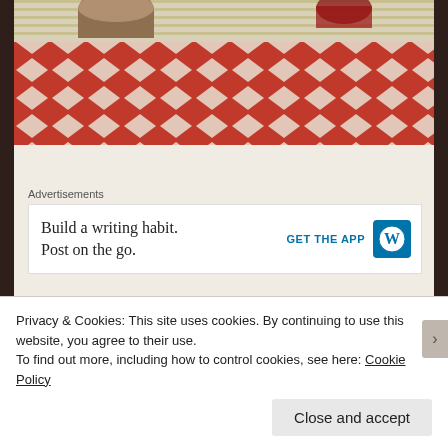[Figure (photo): Photo of a red and white checkered tablecloth/picnic table setting with what appears to be cups or containers on top, viewed from above. Partial outdoor/garden scene.]
Advertisements
[Figure (other): WordPress advertisement banner: 'Build a writing habit. Post on the go.' with GET THE APP button and WordPress logo icon]
In Rovigo, Italy
[Figure (photo): Small thumbnail image, appears to be a landscape or travel photo related to Rovigo, Italy]
Privacy & Cookies: This site uses cookies. By continuing to use this website, you agree to their use.
To find out more, including how to control cookies, see here: Cookie Policy
Close and accept